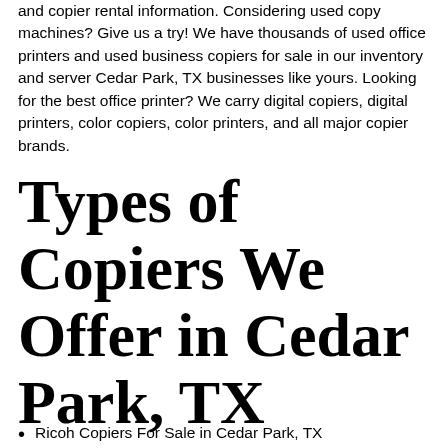and copier rental information. Considering used copy machines? Give us a try! We have thousands of used office printers and used business copiers for sale in our inventory and server Cedar Park, TX businesses like yours. Looking for the best office printer? We carry digital copiers, digital printers, color copiers, color printers, and all major copier brands.
Types of Copiers We Offer in Cedar Park, TX
Ricoh Copiers For Sale in Cedar Park, TX